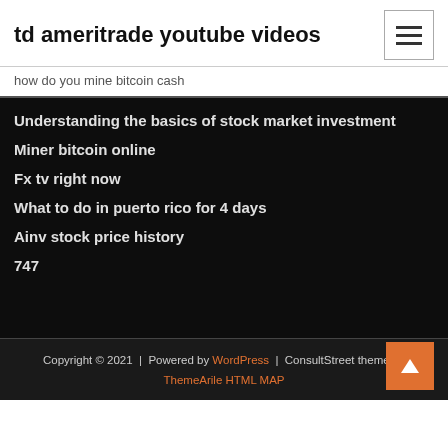td ameritrade youtube videos
how do you mine bitcoin cash
Understanding the basics of stock market investment
Miner bitcoin online
Fx tv right now
What to do in puerto rico for 4 days
Ainv stock price history
747
Copyright © 2021 | Powered by WordPress | ConsultStreet theme by ThemeArile HTML MAP